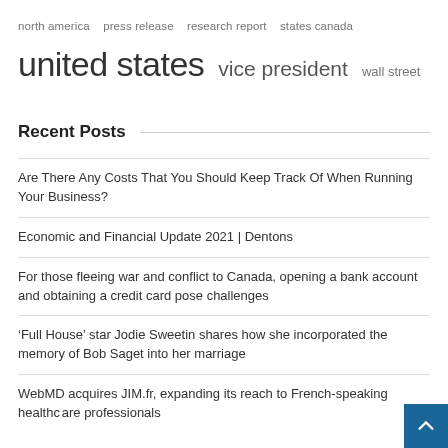north america  press release  research report  states canada
united states  vice president  wall street
Recent Posts
Are There Any Costs That You Should Keep Track Of When Running Your Business?
Economic and Financial Update 2021 | Dentons
For those fleeing war and conflict to Canada, opening a bank account and obtaining a credit card pose challenges
‘Full House’ star Jodie Sweetin shares how she incorporated the memory of Bob Saget into her marriage
WebMD acquires JIM.fr, expanding its reach to French-speaking healthcare professionals